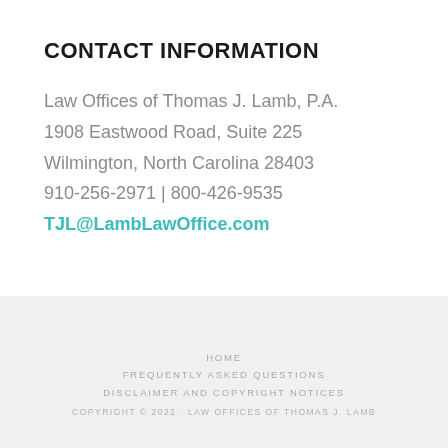CONTACT INFORMATION
Law Offices of Thomas J. Lamb, P.A.
1908 Eastwood Road, Suite 225
Wilmington, North Carolina 28403
910-256-2971 | 800-426-9535
TJL@LambLawOffice.com
HOME
FREQUENTLY ASKED QUESTIONS
DISCLAIMER AND COPYRIGHT NOTICES
COPYRIGHT © 2022 · LAW OFFICES OF THOMAS J. LAMB